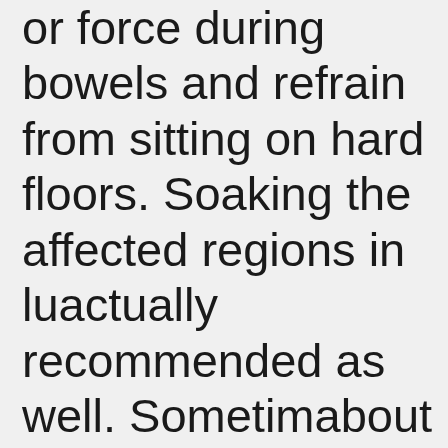or force during bowels and refrain from sitting on hard floors. Soaking the affected regions in lukewarm water is actually recommended as well. Sometimes when just about all the above methods fail to be of help, you opt for surgical treatment as it is the final way to fix the problems. So, if you are looking to get permanently rid of pain of piles, seek help from a surgeon and decide the best treatment method as you can opt for surgery where you may simply get the hemorrhoids cut out and removed from your body. Thus, these are some of the methods that are used for treating hemorrhoids. One can first try out home remedies and if it does not assist, then